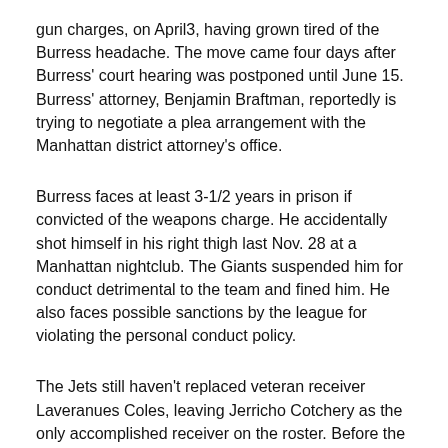gun charges, on April3, having grown tired of the Burress headache. The move came four days after Burress' court hearing was postponed until June 15. Burress' attorney, Benjamin Braftman, reportedly is trying to negotiate a plea arrangement with the Manhattan district attorney's office.
Burress faces at least 3-1/2 years in prison if convicted of the weapons charge. He accidentally shot himself in his right thigh last Nov. 28 at a Manhattan nightclub. The Giants suspended him for conduct detrimental to the team and fined him. He also faces possible sanctions by the league for violating the personal conduct policy.
The Jets still haven't replaced veteran receiver Laveranues Coles, leaving Jerricho Cotchery as the only accomplished receiver on the roster. Before the draft, they expressed some interest in trading for the Cardinals' Anquan Boldin and, during the draft, they tried to trade up for Florida's Percy Harvin.